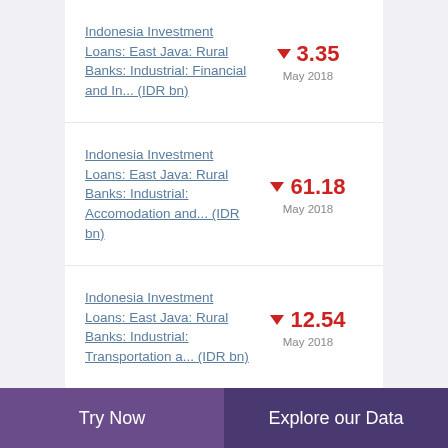Indonesia Investment Loans: East Java: Rural Banks: Industrial: Financial and In... (IDR bn)
Indonesia Investment Loans: East Java: Rural Banks: Industrial: Accomodation and... (IDR bn)
Indonesia Investment Loans: East Java: Rural Banks: Industrial: Transportation a... (IDR bn)
Try Now | Explore our Data